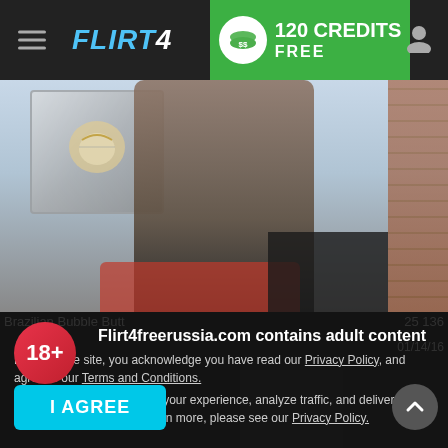FLIRT4FREE — 120 CREDITS FREE
[Figure (screenshot): Screenshot of Flirt4FreeRussia.com website showing navigation bar with logo, 120 CREDITS FREE green banner, and a webcam model photo with adult content warning overlay]
Flirt4freerussia.com contains adult content
By using the site, you acknowledge you have read our Privacy Policy, and agree to our Terms and Conditions.
We use cookies to optimize your experience, analyze traffic, and deliver more personalized service. To learn more, please see our Privacy Policy.
I AGREE